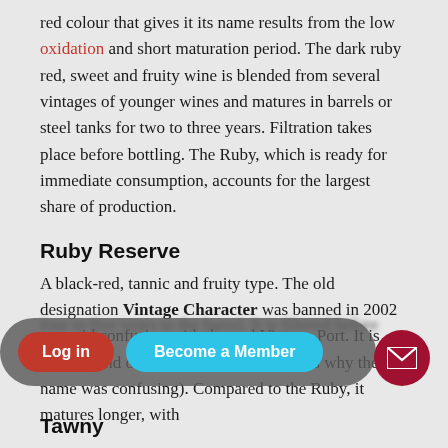red colour that gives it its name results from the low oxidation and short maturation period. The dark ruby red, sweet and fruity wine is blended from several vintages of younger wines and matures in barrels or steel tanks for two to three years. Filtration takes place before bottling. The Ruby, which is ready for immediate consumption, accounts for the largest share of production.
Ruby Reserve
A black-red, tannic and fruity type. The old designation Vintage Character was banned in 2002 to avoid confusion with the real Vintage Port. It is also a blend of several vintages (which is why the old name was confusing). Compared to the Ruby, it matures longer, with four to five years in the barrel. It is filtered before bottling.
Tawny